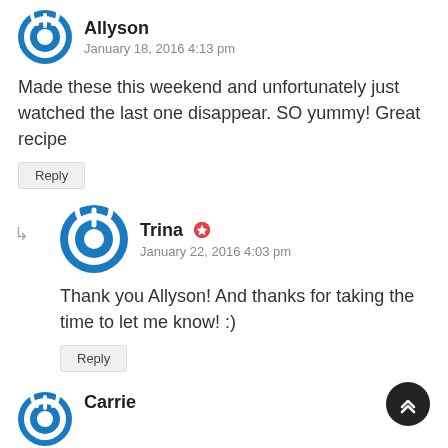Allyson
January 18, 2016 4:13 pm
Made these this weekend and unfortunately just watched the last one disappear. SO yummy! Great recipe
Reply
Trina
January 22, 2016 4:03 pm
Thank you Allyson! And thanks for taking the time to let me know! :)
Reply
Carrie